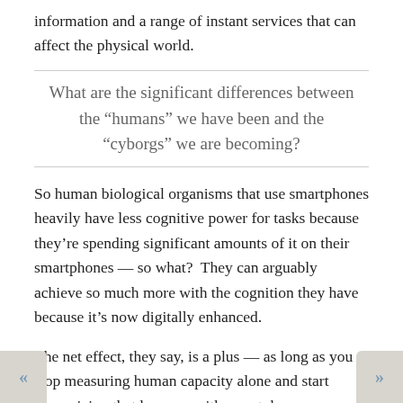information and a range of instant services that can affect the physical world.
What are the significant differences between the “humans” we have been and the “cyborgs” we are becoming?
So human biological organisms that use smartphones heavily have less cognitive power for tasks because they’re spending significant amounts of it on their smartphones — so what?  They can arguably achieve so much more with the cognition they have because it’s now digitally enhanced.
The net effect, they say, is a plus — as long as you stop measuring human capacity alone and start recognizing that humans-with-smartphones are a whole new